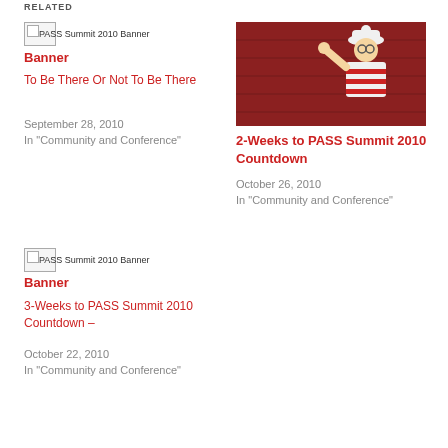RELATED
[Figure (other): Broken image placeholder for PASS Summit 2010 Banner]
To Be There Or Not To Be There
September 28, 2010
In "Community and Conference"
[Figure (photo): Photo of Waldo/Wally character painted on a red wooden wall, wearing striped shirt and knit hat, waving]
2-Weeks to PASS Summit 2010 Countdown
October 26, 2010
In "Community and Conference"
[Figure (other): Broken image placeholder for PASS Summit 2010 Banner]
3-Weeks to PASS Summit 2010 Countdown –
October 22, 2010
In "Community and Conference"